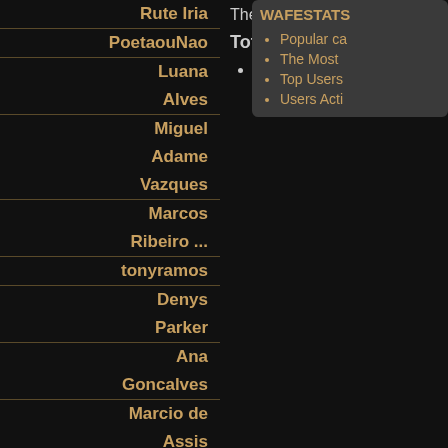Rute Iria
PoetaouNao
Luana
Alves
Miguel
Adame
Vazques
Marcos
Ribeiro ...
tonyramos
Denys
Parker
Ana
Goncalves
Marcio de
Assis
J. Thamiel
There are currently 19 guests online.
Total users
7805 users
WAFESTATS
Popular ca
The Most
Top Users
Users Acti